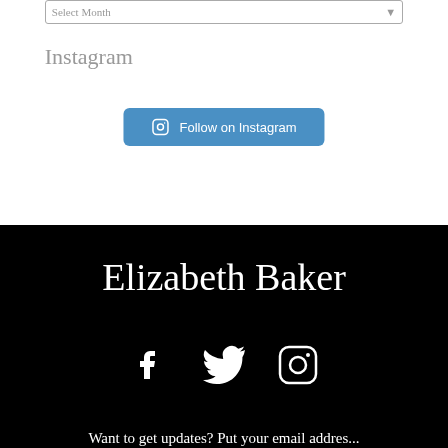Select Month
Instagram
[Figure (other): Blue rounded button with Instagram camera icon and text 'Follow on Instagram']
Elizabeth Baker
[Figure (other): Three white social media icons: Facebook, Twitter, Instagram]
Want to get updates? Put your email addres...